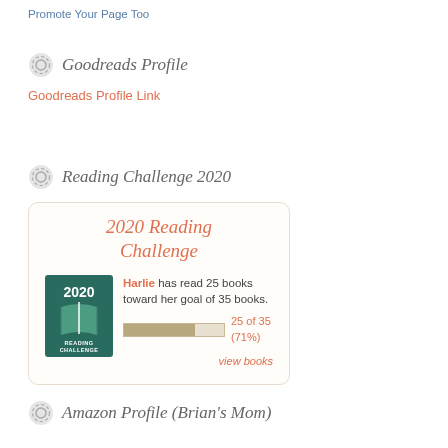Promote Your Page Too
Goodreads Profile
Goodreads Profile Link
Reading Challenge 2020
[Figure (infographic): 2020 Reading Challenge widget showing Harlie has read 25 books toward her goal of 35 books (71%), with a progress bar and a teal book badge]
Amazon Profile (Brian's Mom)